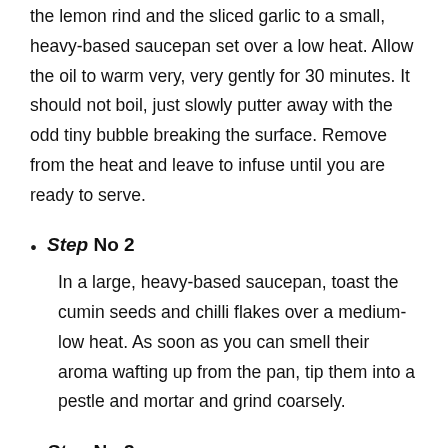the lemon rind and the sliced garlic to a small, heavy-based saucepan set over a low heat. Allow the oil to warm very, very gently for 30 minutes. It should not boil, just slowly putter away with the odd tiny bubble breaking the surface. Remove from the heat and leave to infuse until you are ready to serve.
Step No 2
In a large, heavy-based saucepan, toast the cumin seeds and chilli flakes over a medium-low heat. As soon as you can smell their aroma wafting up from the pan, tip them into a pestle and mortar and grind coarsely.
Step No 3
Place 2 tablespoons olive oil in a pan along with the onion